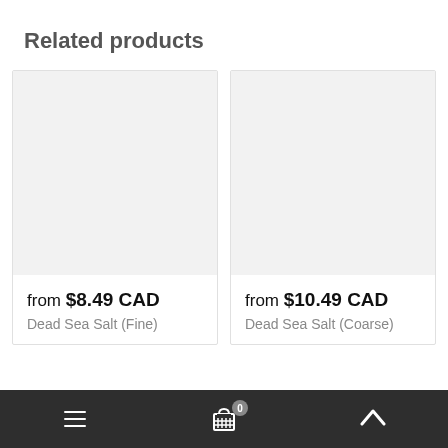Related products
[Figure (photo): Product image placeholder for Dead Sea Salt (Fine), light gray rectangle]
from $8.49 CAD
Dead Sea Salt (Fine)
[Figure (photo): Product image placeholder for Dead Sea Salt (Coarse), light gray rectangle]
from $10.49 CAD
Dead Sea Salt (Coarse)
Navigation bar with menu, cart (0), and scroll-to-top controls